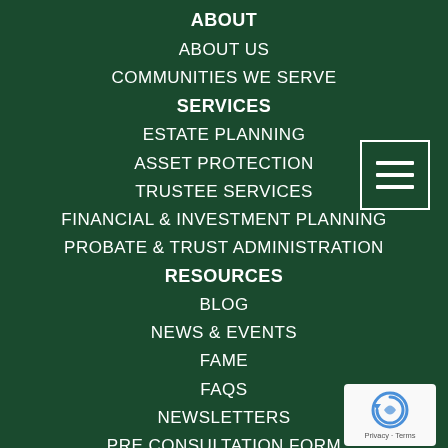ABOUT
ABOUT US
COMMUNITIES WE SERVE
SERVICES
ESTATE PLANNING
ASSET PROTECTION
TRUSTEE SERVICES
FINANCIAL & INVESTMENT PLANNING
PROBATE & TRUST ADMINISTRATION
RESOURCES
BLOG
NEWS & EVENTS
FAME
FAQS
NEWSLETTERS
PRE CONSULTATION FORM
REPORTS
VIDEOS